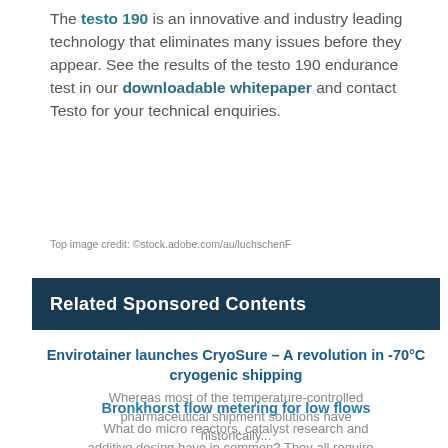The testo 190 is an innovative and industry leading technology that eliminates many issues before they appear. See the results of the testo 190 endurance test in our downloadable whitepaper and contact Testo for your technical enquiries.
Top image credit: ©stock.adobe.com/au/luchschenF
Related Sponsored Contents
Envirotainer launches CryoSure – A revolution in -70°C cryogenic shipping
Whereas most of the temperature-controlled pharmaceutical shipment solutions have historically...
Bronkhorst flow metering for low flows
What do micro reactors, catalyst research and additive dosing have in common? They all require...